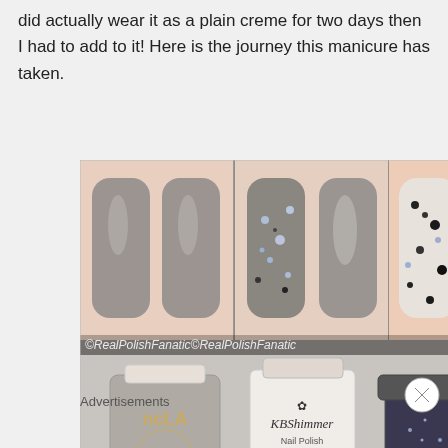did actually wear it as a plain creme for two days then I had to add to it! Here is the journey this manicure has taken.
[Figure (photo): Three-panel collage showing nail polish results (top): left panel shows two gray nails, middle panel shows glitter over gray nails, right panel shows heavy black and white glitter over cream nails. Bottom shows three nail polish bottles: NCLA 'Virgo' gray polish, KBShimmer Nail Polish white/cream, and a dark glitter jar.]
Advertisements